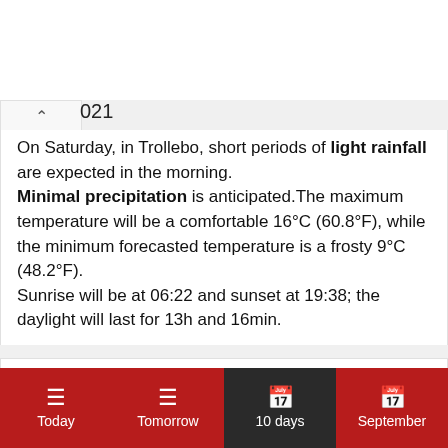On Saturday, in Trollebo, short periods of light rainfall are expected in the morning. Minimal precipitation is anticipated.The maximum temperature will be a comfortable 16°C (60.8°F), while the minimum forecasted temperature is a frosty 9°C (48.2°F). Sunrise will be at 06:22 and sunset at 19:38; the daylight will last for 13h and 16min.
Weather forecast - Sunday, 11. Sep
Today | Tomorrow | 10 days | September